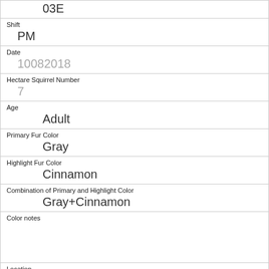| 03E |
| Shift | PM |
| Date | 10082018 |
| Hectare Squirrel Number | 7 |
| Age | Adult |
| Primary Fur Color | Gray |
| Highlight Fur Color | Cinnamon |
| Combination of Primary and Highlight Color | Gray+Cinnamon |
| Color notes |  |
| Location | Ground Plane |
| Above Ground Sighter Measurement | FALSE |